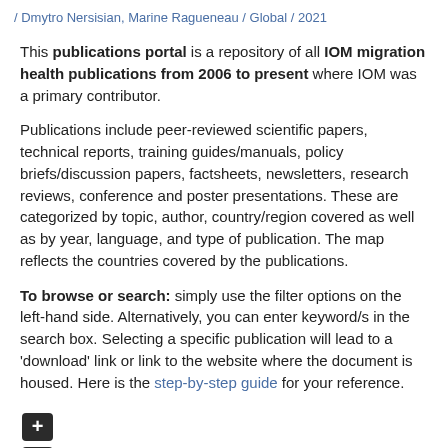/ Dmytro Nersisian, Marine Ragueneau / Global / 2021
This publications portal is a repository of all IOM migration health publications from 2006 to present where IOM was a primary contributor.
Publications include peer-reviewed scientific papers, technical reports, training guides/manuals, policy briefs/discussion papers, factsheets, newsletters, research reviews, conference and poster presentations. These are categorized by topic, author, country/region covered as well as by year, language, and type of publication. The map reflects the countries covered by the publications.
To browse or search: simply use the filter options on the left-hand side. Alternatively, you can enter keyword/s in the search box. Selecting a specific publication will lead to a 'download' link or link to the website where the document is housed. Here is the step-by-step guide for your reference.
[Figure (other): Two small square buttons: a plus (+) button and a minus (-) button, both dark/black colored, stacked vertically.]